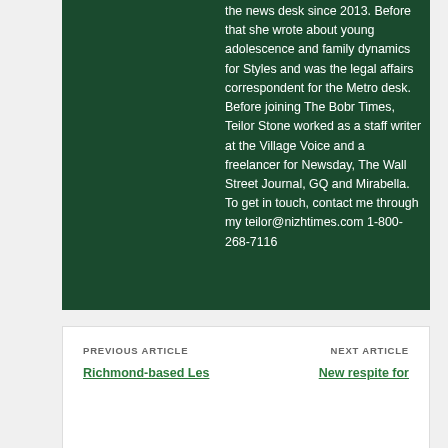[Figure (photo): Partial photo of a person, cropped at top of page on dark green background]
the news desk since 2013. Before that she wrote about young adolescence and family dynamics for Styles and was the legal affairs correspondent for the Metro desk. Before joining The Bobr Times, Teilor Stone worked as a staff writer at the Village Voice and a freelancer for Newsday, The Wall Street Journal, GQ and Mirabella. To get in touch, contact me through my teilor@nizhtimes.com 1-800-268-7116
PREVIOUS ARTICLE
Richmond-based Les
NEXT ARTICLE
New respite for